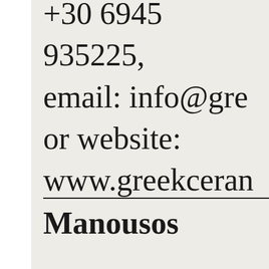+30 6945 935225, email: info@gre or website: www.greekceram
Manousos